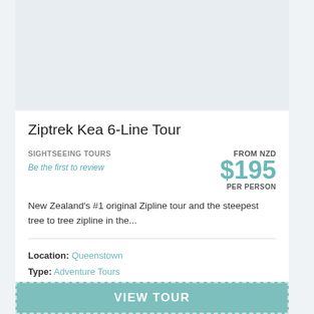[Figure (photo): Placeholder image area for Ziptrek Kea 6-Line Tour]
Ziptrek Kea 6-Line Tour
SIGHTSEEING TOURS
Be the first to review
FROM NZD $195 PER PERSON
New Zealand's #1 original Zipline tour and the steepest tree to tree zipline in the...
Location: Queenstown
Type: Adventure Tours
Compare this Tour
VIEW TOUR